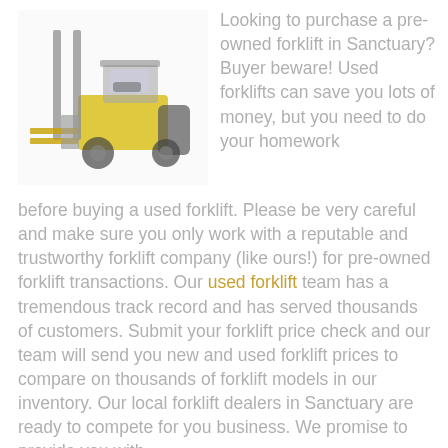[Figure (photo): Yellow forklift truck facing left, shown from the side-front angle on a white/light background.]
Looking to purchase a pre-owned forklift in Sanctuary? Buyer beware! Used forklifts can save you lots of money, but you need to do your homework before buying a used forklift. Please be very careful and make sure you only work with a reputable and trustworthy forklift company (like ours!) for pre-owned forklift transactions. Our used forklift team has a tremendous track record and has served thousands of customers. Submit your forklift price check and our team will send you new and used forklift prices to compare on thousands of forklift models in our inventory. Our local forklift dealers in Sanctuary are ready to compete for you business. We promise to provide you with